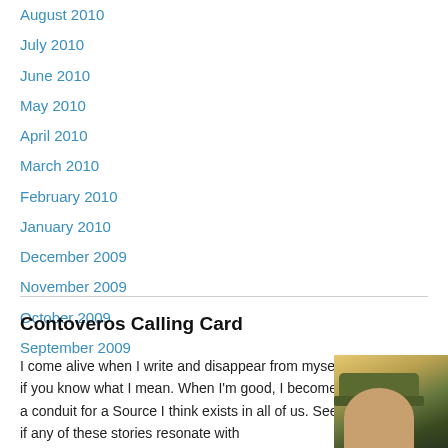August 2010
July 2010
June 2010
May 2010
April 2010
March 2010
February 2010
January 2010
December 2009
November 2009
October 2009
September 2009
Contoveros Calling Card
I come alive when I write and disappear from myself, if you know what I mean. When I'm good, I become a conduit for a Source I think exists in all of us. See if any of these stories resonate with
[Figure (photo): Photo of a person wearing a green military-style cap, outdoors with foliage in background]